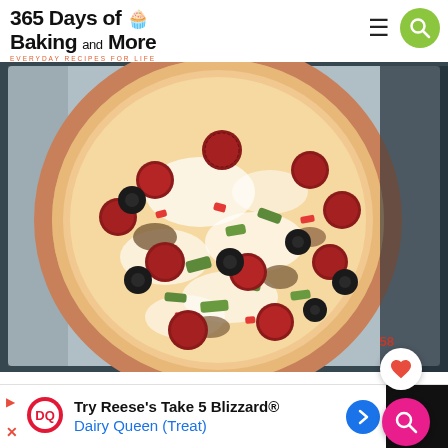365 Days of Baking and More — EVERYDAY RECIPES FOR LIFE
[Figure (photo): A whole pepperoni pizza topped with black olives, green peppers, red peppers, Italian sausage, and mozzarella cheese, on a metal baking pan with dark background.]
58
Try Reese's Take 5 Blizzard® Dairy Queen (Treat)